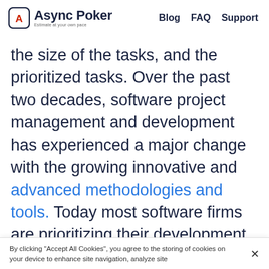Async Poker | Blog FAQ Support
the size of the tasks, and the prioritized tasks. Over the past two decades, software project management and development has experienced a major change with the growing innovative and advanced methodologies and tools. Today most software firms are prioritizing their development projects using the iterative Agile approach that involves the whole team in the discussion, thereby resulting in
By clicking “Accept All Cookies”, you agree to the storing of cookies on your device to enhance site navigation, analyze site